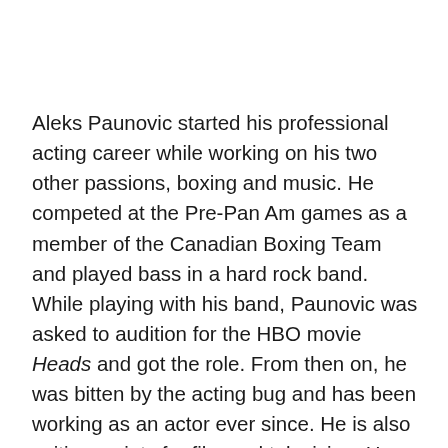Aleks Paunovic started his professional acting career while working on his two other passions, boxing and music. He competed at the Pre-Pan Am games as a member of the Canadian Boxing Team and played bass in a hard rock band. While playing with his band, Paunovic was asked to audition for the HBO movie Heads and got the role. From then on, he was bitten by the acting bug and has been working as an actor ever since. He is also writing scripts for film and television. He was recently nominated for a Jessie Richardson Theater Award for his leading role in the Vancouver stage production of Danny and the Deep Blue Sea. Paunovic recently had a standout comedic turn opposite Tom Hardy in the Fox comedy This Means War and has a regularly recurring role as Jim McAllister on the CBC